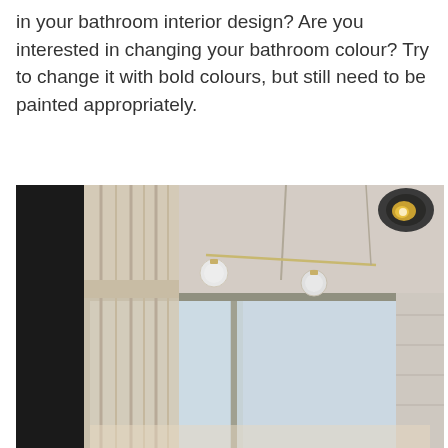in your bathroom interior design? Are you interested in changing your bathroom colour? Try to change it with bold colours, but still need to be painted appropriately.
[Figure (photo): Interior photo of a modern bathroom/room showing a large sliding glass window with cream/beige curtains, a pendant light fixture with globe bulbs hanging from the ceiling, a spotlight in the upper right corner, and a dark black panel on the left side. The ceiling is light grey/white and the overall aesthetic is modern and minimalist.]